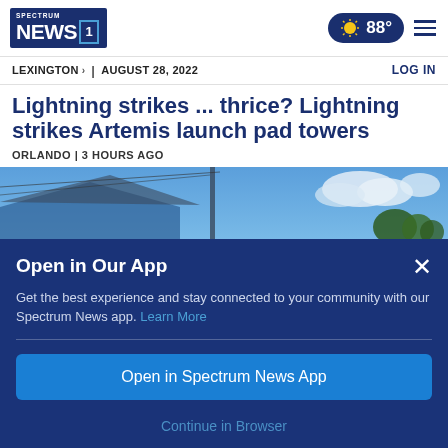Spectrum News 1 — 88° — LEXINGTON > | AUGUST 28, 2022 — LOG IN
Lightning strikes ... thrice? Lightning strikes Artemis launch pad towers
ORLANDO | 3 HOURS AGO
[Figure (photo): Outdoor photo showing a structure under blue sky with clouds and trees in background]
Open in Our App
Get the best experience and stay connected to your community with our Spectrum News app. Learn More
Open in Spectrum News App
Continue in Browser